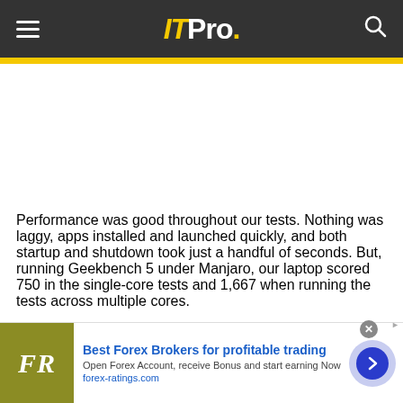IT Pro.
Performance was good throughout our tests. Nothing was laggy, apps installed and launched quickly, and both startup and shutdown took just a handful of seconds. But, running Geekbench 5 under Manjaro, our laptop scored 750 in the single-core tests and 1,667 when running the tests across multiple cores.
[Figure (other): Advertisement banner for Best Forex Brokers featuring FR logo, headline 'Best Forex Brokers for profitable trading', subtext 'Open Forex Account, receive Bonus and start earning Now', URL forex-ratings.com, and a circular arrow button.]